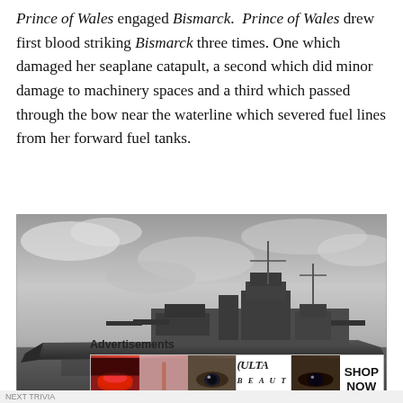Prince of Wales engaged Bismarck. Prince of Wales drew first blood striking Bismarck three times. One which damaged her seaplane catapult, a second which did minor damage to machinery spaces and a third which passed through the bow near the waterline which severed fuel lines from her forward fuel tanks.
[Figure (photo): Black and white photograph of the German battleship Bismarck at sea, viewed from the side, with dramatic cloudy sky in the background.]
Advertisements
[Figure (photo): Ulta Beauty advertisement banner showing close-up images of lips with red lipstick, makeup brush, eye with makeup, Ulta logo, another eye with makeup, and SHOP NOW text.]